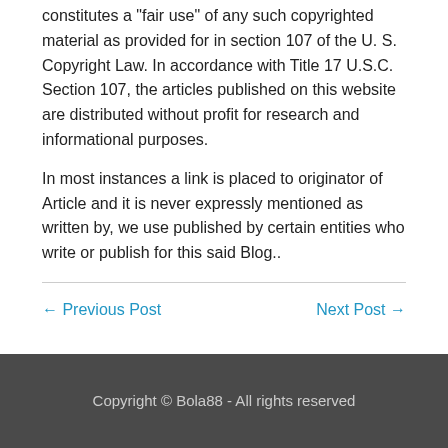constitutes a "fair use" of any such copyrighted material as provided for in section 107 of the U. S. Copyright Law. In accordance with Title 17 U.S.C. Section 107, the articles published on this website are distributed without profit for research and informational purposes.
In most instances a link is placed to originator of Article and it is never expressly mentioned as written by, we use published by certain entities who write or publish for this said Blog..
← Previous Post
Next Post →
Copyright © Bola88 - All rights reserved